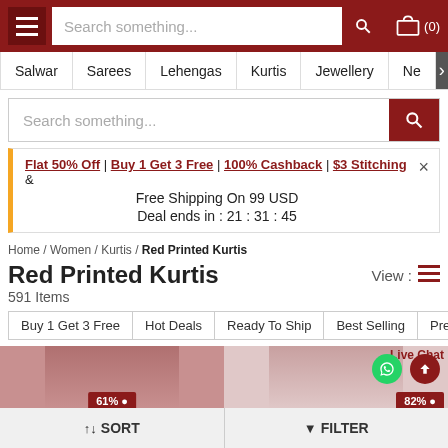Search something... (0)
Salwar | Sarees | Lehengas | Kurtis | Jewellery | Ne >
Search something...
Flat 50% Off | Buy 1 Get 3 Free | 100% Cashback | $3 Stitching & Free Shipping On 99 USD Deal ends in : 21 : 31 : 45
Home / Women / Kurtis / Red Printed Kurtis
Red Printed Kurtis
591 Items
Buy 1 Get 3 Free
Hot Deals
Ready To Ship
Best Selling
Premium Ku
[Figure (photo): Two product thumbnails showing red kurtis with 61% and 82% off badges]
SORT   FILTER